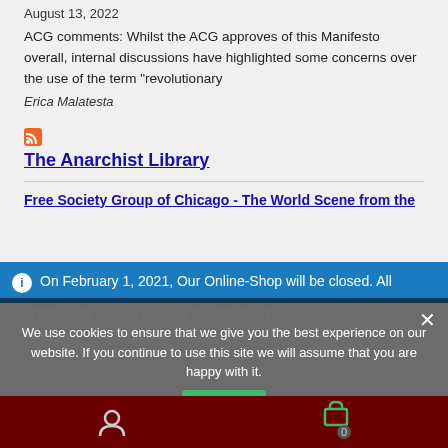August 13, 2022
ACG comments: Whilst the ACG approves of this Manifesto overall, internal discussions have highlighted some concerns over the use of the term “revolutionary
Erica Malatesta
The Anarchist Library
Free Society Group of Chicago - The World Scene from the
On February 1, 2021, Our Online-Shop will be closed. All orders until January 31 will be delivered
Dismiss
We use cookies to ensure that we give you the best experience on our website. If you continue to use this site we will assume that you are happy with it.